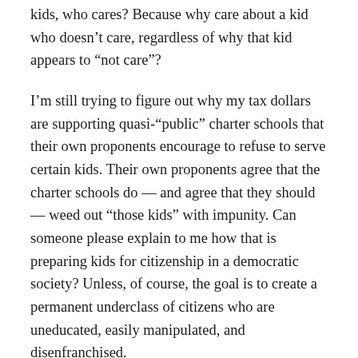kids, who cares? Because why care about a kid who doesn’t care, regardless of why that kid appears to “not care”?
I’m still trying to figure out why my tax dollars are supporting quasi-“public” charter schools that their own proponents encourage to refuse to serve certain kids. Their own proponents agree that the charter schools do — and agree that they should — weed out “those kids” with impunity. Can someone please explain to me how that is preparing kids for citizenship in a democratic society? Unless, of course, the goal is to create a permanent underclass of citizens who are uneducated, easily manipulated, and disenfranchised.
Why don’t we just kill two birds with one stone? We